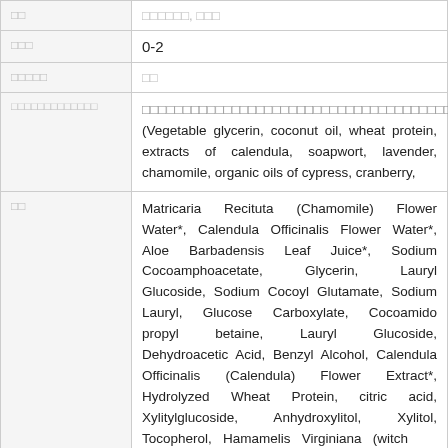|  |  |
| --- | --- |
| □□ | □□□□□, □□□ |
| □□□ | 0-2 |
| □□□□□ | □□ |
| □□□□□□□□□□□□□ | □□□□□□□□□□□□□□□□□□□□□□□□□□□□□□□□□□□□□□□□□□□□□□□□□□□□□□□□□□□seabuckthorn□□□□□□□□ (Vegetable glycerin, coconut oil, wheat protein, extracts of calendula, soapwort, lavender, chamomile, organic oils of cypress, cranberry, |
| □□ | Matricaria Recituta (Chamomile) Flower Water*, Calendula Officinalis Flower Water*, Aloe Barbadensis Leaf Juice*, Sodium Cocoamphoacetate, Glycerin, Lauryl Glucoside, Sodium Cocoyl Glutamate, Sodium Lauryl, Glucose Carboxylate, Cocoamido propyl betaine, Lauryl Glucoside, Dehydroacetic Acid, Benzyl Alcohol, Calendula Officinalis (Calendula) Flower Extract*, Hydrolyzed Wheat Protein, citric acid, Xylitylglucoside, Anhydroxylitol, Xylitol, Tocopherol, Hamamelis Virginiana (witch |